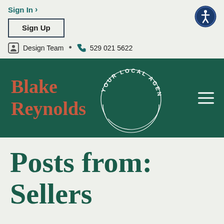Sign In
Sign Up
Design Team · 529 021 5622
[Figure (logo): Blake Reynolds Your Local Agent logo on dark green banner with circular text badge]
Posts from: Sellers